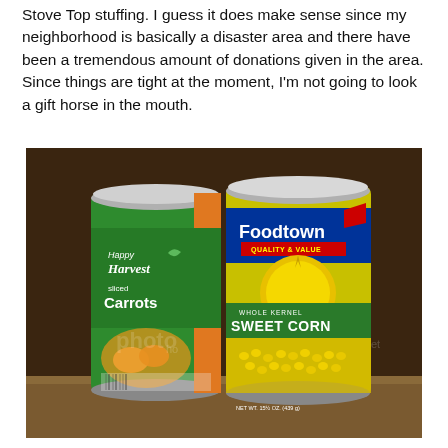Stove Top stuffing. I guess it does make sense since my neighborhood is basically a disaster area and there have been a tremendous amount of donations given in the area. Since things are tight at the moment, I'm not going to look a gift horse in the mouth.
[Figure (photo): Photo of two canned food items on a wooden surface: a Happy Harvest Sliced Carrots can (green label) on the left and a Foodtown Whole Kernel Sweet Corn can (yellow and green label) on the right.]